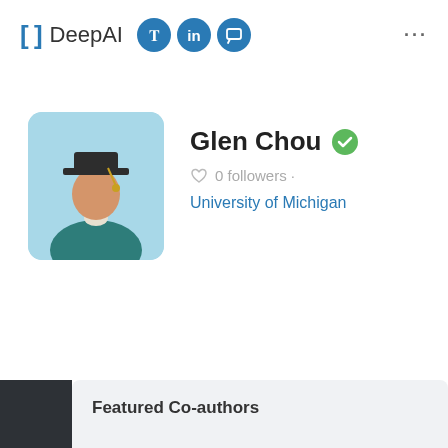[ ] DeepAI ... (with social icons: Twitter, LinkedIn, Chat)
[Figure (illustration): User profile avatar: a stylized illustration of a person wearing a graduation cap and teal academic gown on a light blue rounded-square background]
Glen Chou
0 followers ·
University of Michigan
Featured Co-authors